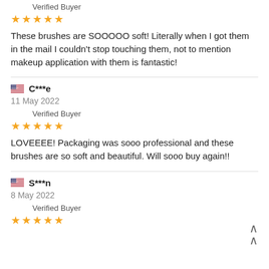Verified Buyer
★★★★★
These brushes are SOOOOO soft! Literally when I got them in the mail I couldn't stop touching them, not to mention makeup application with them is fantastic!
C***e
11 May 2022
Verified Buyer
★★★★★
LOVEEEE! Packaging was sooo professional and these brushes are so soft and beautiful. Will sooo buy again!!
S***n
8 May 2022
Verified Buyer
★★★★★